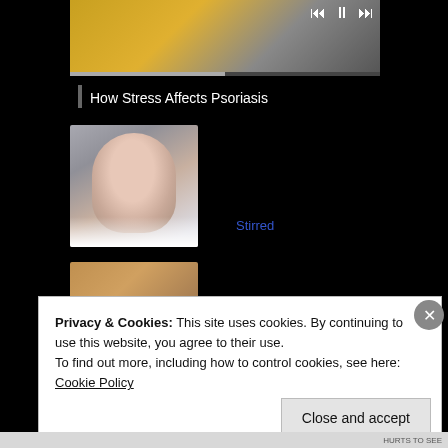[Figure (screenshot): Video player thumbnail showing a person in yellow clothing, with playback controls (previous, pause, next) and a progress bar]
How Stress Affects Psoriasis
[Figure (photo): Portrait photo of a blonde woman with red lipstick wearing a white garment, against a gray background]
Stirred
[Figure (photo): Partial photo of another person, cropped at bottom]
Privacy & Cookies: This site uses cookies. By continuing to use this website, you agree to their use.
To find out more, including how to control cookies, see here:
Cookie Policy
Close and accept